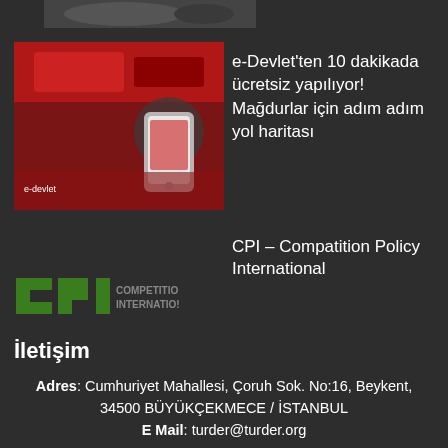[Figure (photo): Partial view of a dark-colored vehicle or object at top of page]
[Figure (photo): Red-themed smartphone/e-government app advertisement image]
e-Devlet'ten 10 dakikada ücretsiz yapılıyor! Mağdurlar için adım adım yol haritası
CPI – Compatition Policy International
[Figure (logo): CPI - Competition Policy International logo with green and grey coloring]
İletişim
Adres: Cumhuriyet Mahallesi, Çoruh Sok. No:16, Beykent, 34500 BÜYÜKÇEKMECE / İSTANBUL
E Mail: turder@turder.org